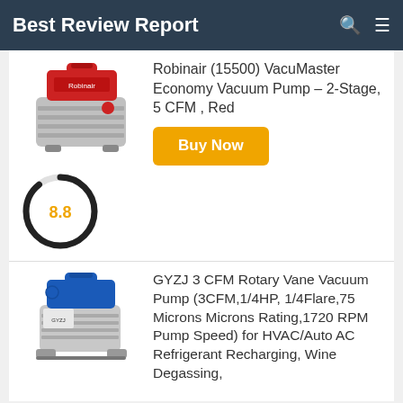Best Review Report
[Figure (photo): Robinair VacuMaster red vacuum pump product image]
Robinair (15500) VacuMaster Economy Vacuum Pump – 2-Stage, 5 CFM , Red
[Figure (other): Score circle showing 8.8 rating]
Buy Now
[Figure (photo): GYZJ blue rotary vane vacuum pump product image]
GYZJ 3 CFM Rotary Vane Vacuum Pump (3CFM,1/4HP, 1/4Flare,75 Microns Microns Rating,1720 RPM Pump Speed) for HVAC/Auto AC Refrigerant Recharging, Wine Degassing,